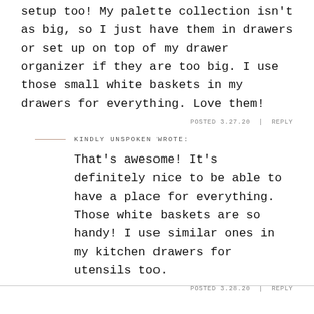setup too! My palette collection isn't as big, so I just have them in drawers or set up on top of my drawer organizer if they are too big. I use those small white baskets in my drawers for everything. Love them!
POSTED 3.27.20  |  REPLY
KINDLY UNSPOKEN WROTE:
That's awesome! It's definitely nice to be able to have a place for everything. Those white baskets are so handy! I use similar ones in my kitchen drawers for utensils too.
POSTED 3.28.20  |  REPLY